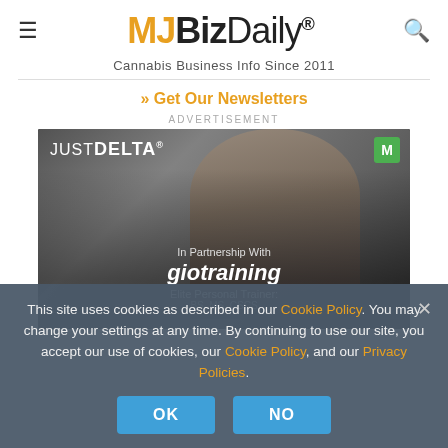MJBizDaily® — Cannabis Business Info Since 2011
» Get Our Newsletters
ADVERTISEMENT
[Figure (photo): Advertisement for JUST DELTA in partnership with giotraining. Shows a tattooed man in a jacket. Text reads: In Partnership With giotraining Elite Personal Trainer: ...]
This site uses cookies as described in our Cookie Policy. You may change your settings at any time. By continuing to use our site, you accept our use of cookies, our Cookie Policy, and our Privacy Policies.
OK
NO